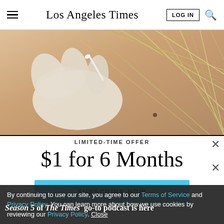Los Angeles Times
[Figure (photo): Close-up of a gloved hand pressing on skin near a mole, with blonde hair visible in the background — medical/dermatology context.]
LIMITED-TIME OFFER
$1 for 6 Months
SUBSCRIBE NOW
By continuing to use our site, you agree to our Terms of Service and Privacy Policy. You can learn more about how we use cookies by reviewing our Privacy Policy. Close
Season 5 of The Times' go-to podcast is here